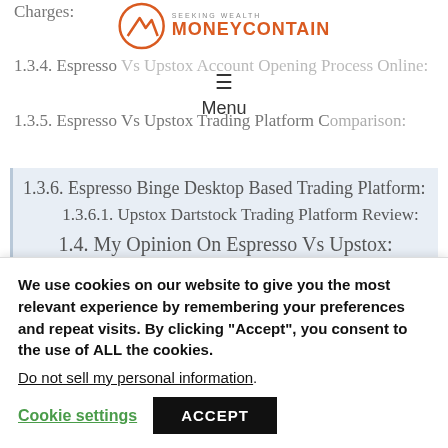[Figure (logo): MoneyContain logo with orange circle mountain icon and 'SEEKING WEALTH MONEYCONTAIN' text in orange]
Charges:
1.3.4. Espresso Vs Upstox Account Opening Process Online:
1.3.5. Espresso Vs Upstox Trading Platform Comparison:
1.3.6. Espresso Binge Desktop Based Trading Platform:
1.3.6.1. Upstox Dartstock Trading Platform Review:
1.4. My Opinion On Espresso Vs Upstox:
We use cookies on our website to give you the most relevant experience by remembering your preferences and repeat visits. By clicking “Accept”, you consent to the use of ALL the cookies.
Do not sell my personal information.
Cookie settings   ACCEPT